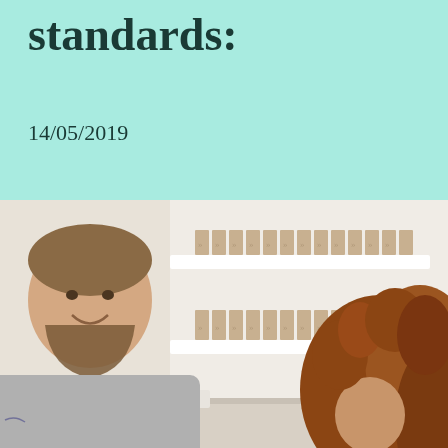standards:
14/05/2019
[Figure (photo): Two people in a bright retail or office setting. A smiling bearded man in a grey t-shirt on the left, and a woman with curly auburn hair on the right, both appearing to be having a conversation across a counter. Shelves with neatly arranged items visible in the background.]